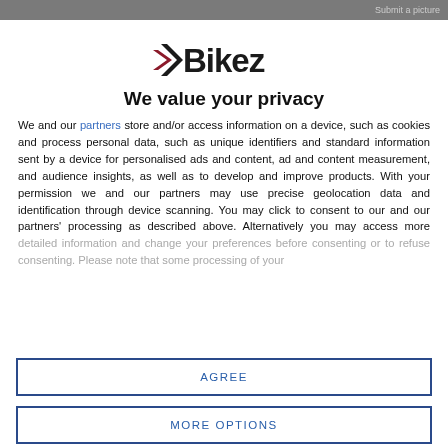Submit a picture
[Figure (logo): Bikez logo with stylized arrow and bold text]
We value your privacy
We and our partners store and/or access information on a device, such as cookies and process personal data, such as unique identifiers and standard information sent by a device for personalised ads and content, ad and content measurement, and audience insights, as well as to develop and improve products. With your permission we and our partners may use precise geolocation data and identification through device scanning. You may click to consent to our and our partners' processing as described above. Alternatively you may access more detailed information and change your preferences before consenting or to refuse consenting. Please note that some processing of your
AGREE
MORE OPTIONS